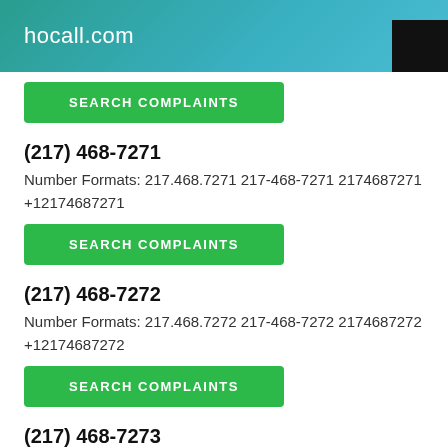hocall.com
SEARCH COMPLAINTS
(217) 468-7271
Number Formats: 217.468.7271 217-468-7271 2174687271 +12174687271
SEARCH COMPLAINTS
(217) 468-7272
Number Formats: 217.468.7272 217-468-7272 2174687272 +12174687272
SEARCH COMPLAINTS
(217) 468-7273
Number Formats: 217.468.7273 217-468-7273 2174687273 +12174687273
SEARCH COMPLAINTS